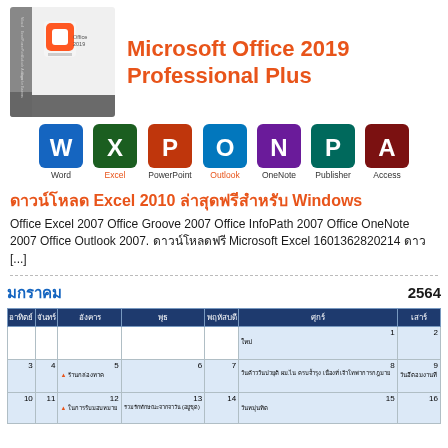[Figure (photo): Microsoft Office 2019 Professional Plus product box with Office logo icon]
Microsoft Office 2019 Professional Plus
[Figure (infographic): Row of Microsoft Office 2019 app icons: Word, Excel, PowerPoint, Outlook, OneNote, Publisher, Access]
ดาวน์โหลด Excel 2010 ล่าสุดฟรีสำหรับ Windows
Office Excel 2007 Office Groove 2007 Office InfoPath 2007 Office OneNote 2007 Office Outlook 2007. ดาวน์โหลดฟรี Microsoft Excel 1601362820214 ดาว [...]
มกราคม  2564
| อาทิตย์ | จันทร์ | อังคาร | พุธ | พฤหัสบดี | ศุกร์ | เสาร์ |
| --- | --- | --- | --- | --- | --- | --- |
|  |  |  |  |  | 1 ใหม่ | 2 |
| 3 | 4 | 5 ▲ ร้านกล่องทาก | 6 | 7 | 8 วันค้าววันปวยุติ ผม.ไน ครบจ้ำรุงร เนื่อง์ที่ เจ้าโทพาการกฎมาย | 9 วันอีตอมงานที |
| 10 | 11 | 12 ▲ ในการรับมอบหมาย | 13 ร่วมรักทักษณะจากจาวัน (อยู่ชุด) | 14 | 15 วันหมุ่นทิด | 16 |